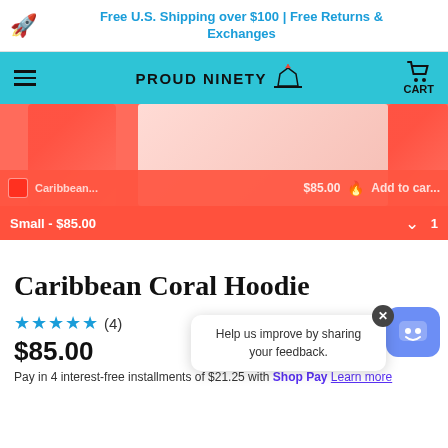Free U.S. Shipping over $100 | Free Returns & Exchanges
PROUD NINETY — CART
[Figure (screenshot): Product page showing Caribbean Coral Hoodie images in coral/red color, with overlay controls showing Caribbean, $85.00, Add to cart, and size selector Small - $85.00]
Caribbean Coral Hoodie
★★★★★ (4)
$85.00
Pay in 4 interest-free installments of $21.25 with Shop Pay Learn more